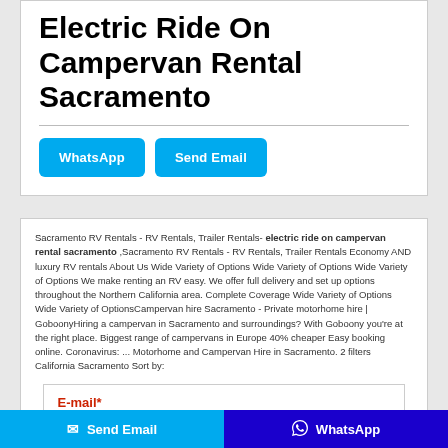Electric Ride On Campervan Rental Sacramento
WhatsApp  Send Email
Sacramento RV Rentals - RV Rentals, Trailer Rentals- electric ride on campervan rental sacramento ,Sacramento RV Rentals - RV Rentals, Trailer Rentals Economy AND luxury RV rentals About Us Wide Variety of Options Wide Variety of Options Wide Variety of Options We make renting an RV easy. We offer full delivery and set up options throughout the Northern California area. Complete Coverage Wide Variety of Options Wide Variety of OptionsCampervan hire Sacramento - Private motorhome hire | GoboonyHiring a campervan in Sacramento and surroundings? With Goboony you're at the right place. Biggest range of campervans in Europe 40% cheaper Easy booking online. Coronavirus: ... Motorhome and Campervan Hire in Sacramento. 2 filters California Sacramento Sort by:
E-mail*
Send Email  WhatsApp